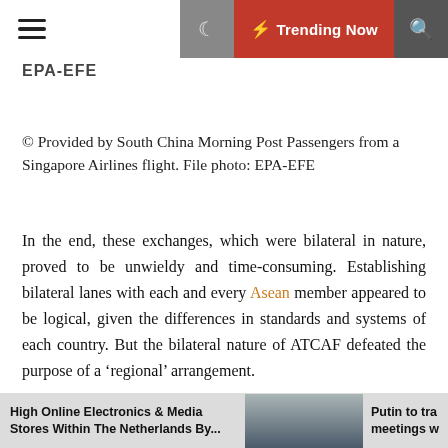EPA-EFE | Trending Now
© Provided by South China Morning Post Passengers from a Singapore Airlines flight. File photo: EPA-EFE
In the end, these exchanges, which were bilateral in nature, proved to be unwieldy and time-consuming. Establishing bilateral lanes with each and every Asean member appeared to be logical, given the differences in standards and systems of each country. But the bilateral nature of ATCAF defeated the purpose of a 'regional' arrangement.
Furthermore, restricting the framework to citizens, permanent residents, or long-term pass holders of Asean
High Online Electronics & Media Stores Within The Netherlands By... | Putin to tra meetings w